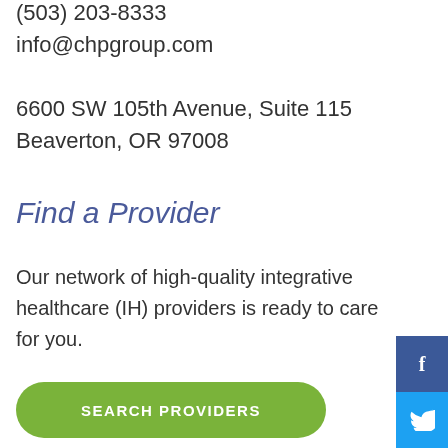(503) 203-8333
info@chpgroup.com
6600 SW 105th Avenue, Suite 115
Beaverton, OR 97008
Find a Provider
Our network of high-quality integrative healthcare (IH) providers is ready to care for you.
SEARCH PROVIDERS